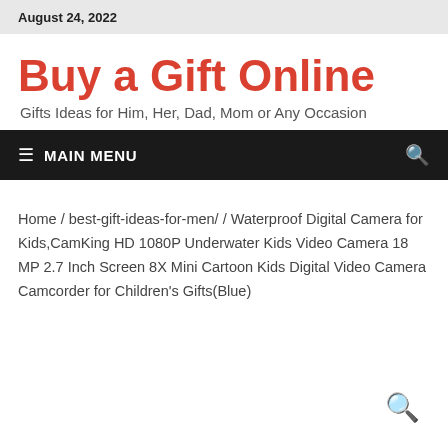August 24, 2022
Buy a Gift Online
Gifts Ideas for Him, Her, Dad, Mom or Any Occasion
MAIN MENU
Home / best-gift-ideas-for-men/ / Waterproof Digital Camera for Kids,CamKing HD 1080P Underwater Kids Video Camera 18 MP 2.7 Inch Screen 8X Mini Cartoon Kids Digital Video Camera Camcorder for Children's Gifts(Blue)